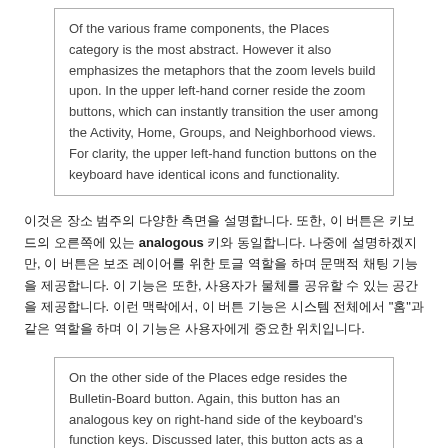Of the various frame components, the Places category is the most abstract. However it also emphasizes the metaphors that the zoom levels build upon. In the upper left-hand corner reside the zoom buttons, which can instantly transition the user among the Activity, Home, Groups, and Neighborhood views. For clarity, the upper left-hand function buttons on the keyboard have identical icons and functionality.
이것은 장소 범주의 다양한 측면을 설명합니다. 또한, 이 버튼은 키보드의 오른쪽에 있는 analogous 키와 동일합니다. 나중에 설명하겠지만, 이 버튼은 보조 레이어를 위한 토글 역할을 하며 문맥적 채팅 기능을 제공합니다. 이 기능은 또한, 사용자가 물체를 공유할 수 있는 공간을 제공합니다. 이런 맥락에서, 이 버튼 기능은 시스템 전체에서 "홈"과 같은 역할을 하며 이 기능은 사용자에게 중요한 위치입니다.
On the other side of the Places edge resides the Bulletin-Board button. Again, this button has an analogous key on right-hand side of the keyboard's function keys. Discussed later, this button acts as a toggle for an auxiliary layer which can provide contextual chat and a place to share objects. This button functions within the